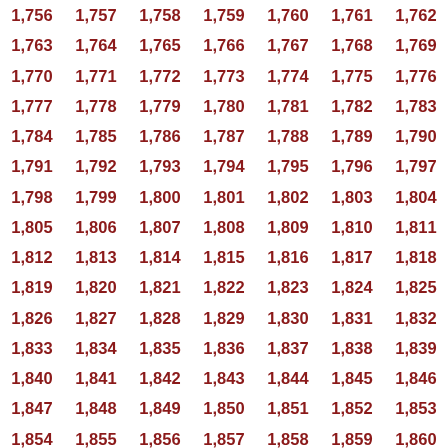| 1,756 | 1,757 | 1,758 | 1,759 | 1,760 | 1,761 | 1,762 |
| 1,763 | 1,764 | 1,765 | 1,766 | 1,767 | 1,768 | 1,769 |
| 1,770 | 1,771 | 1,772 | 1,773 | 1,774 | 1,775 | 1,776 |
| 1,777 | 1,778 | 1,779 | 1,780 | 1,781 | 1,782 | 1,783 |
| 1,784 | 1,785 | 1,786 | 1,787 | 1,788 | 1,789 | 1,790 |
| 1,791 | 1,792 | 1,793 | 1,794 | 1,795 | 1,796 | 1,797 |
| 1,798 | 1,799 | 1,800 | 1,801 | 1,802 | 1,803 | 1,804 |
| 1,805 | 1,806 | 1,807 | 1,808 | 1,809 | 1,810 | 1,811 |
| 1,812 | 1,813 | 1,814 | 1,815 | 1,816 | 1,817 | 1,818 |
| 1,819 | 1,820 | 1,821 | 1,822 | 1,823 | 1,824 | 1,825 |
| 1,826 | 1,827 | 1,828 | 1,829 | 1,830 | 1,831 | 1,832 |
| 1,833 | 1,834 | 1,835 | 1,836 | 1,837 | 1,838 | 1,839 |
| 1,840 | 1,841 | 1,842 | 1,843 | 1,844 | 1,845 | 1,846 |
| 1,847 | 1,848 | 1,849 | 1,850 | 1,851 | 1,852 | 1,853 |
| 1,854 | 1,855 | 1,856 | 1,857 | 1,858 | 1,859 | 1,860 |
| 1,861 | 1,862 | 1,863 | 1,864 | 1,865 | 1,866 | 1,867 |
| 1,868 | 1,869 | 1,870 | 1,871 | 1,872 | 1,873 | 1,874 |
| 1,875 | 1,876 | 1,877 | 1,878 | 1,879 | 1,880 | 1,881 |